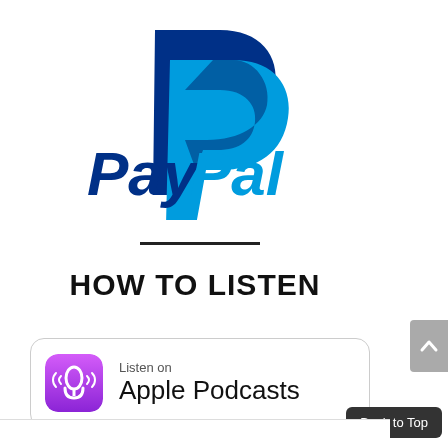[Figure (logo): PayPal logo with two overlapping P letterforms in dark blue and light blue, with 'PayPal' wordmark below in dark blue and light blue]
HOW TO LISTEN
[Figure (logo): Apple Podcasts badge: purple icon with podcast rings and microphone, text 'Listen on Apple Podcasts']
Back to Top